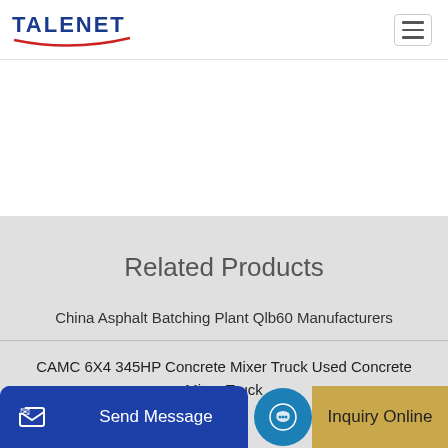TALENET
Related Products
China Asphalt Batching Plant Qlb60 Manufacturers
CAMC 6X4 345HP Concrete Mixer Truck Used Concrete Mixer Truck
Send Message | Inquiry Online